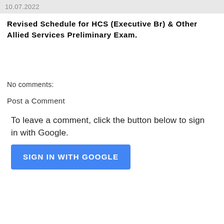10.07.2022
Revised Schedule for HCS (Executive Br) & Other Allied Services Preliminary Exam.
No comments:
Post a Comment
To leave a comment, click the button below to sign in with Google.
SIGN IN WITH GOOGLE